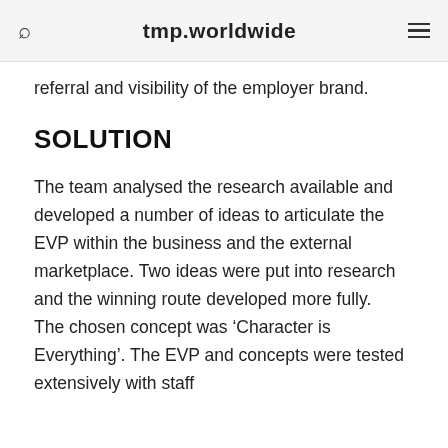tmp.worldwide
referral and visibility of the employer brand.
SOLUTION
The team analysed the research available and developed a number of ideas to articulate the EVP within the business and the external marketplace. Two ideas were put into research and the winning route developed more fully. The chosen concept was ‘Character is Everything’. The EVP and concepts were tested extensively with staff